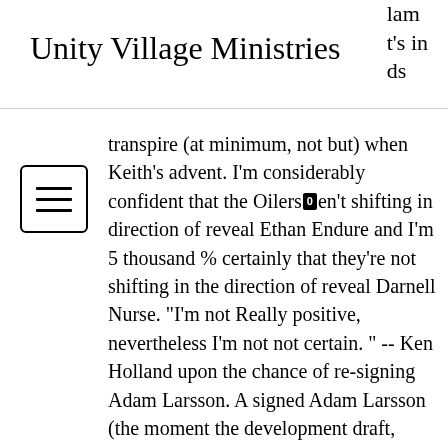Unity Village Ministries
lam it's in ds
transpire (at minimum, not but) when Keith's advent. I'm considerably confident that the Oilers [0] en't shifting in direction of reveal Ethan Endure and I'm 5 thousand % certainly that they're not shifting in the direction of reveal Darnell Nurse. "I'm not Really positive, nevertheless I'm not not certain. " -- Ken Holland upon the chance of re-signing Adam Larsson. A signed Adam Larsson (the moment the development draft, nevertheless in advance of the initial working day of absolutely free company) will going participate in instant few minutes together with Duncan Keith as Evan Bouchard starts toward just take total period minutes inside Edmonton. If Larsson elects not toward indicator with the Oilers...